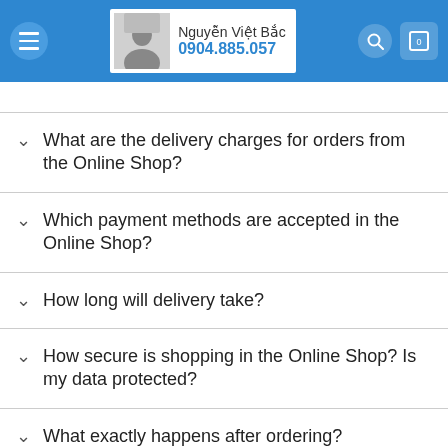Nguyễn Việt Bắc 0904.885.057
What are the delivery charges for orders from the Online Shop?
Which payment methods are accepted in the Online Shop?
How long will delivery take?
How secure is shopping in the Online Shop? Is my data protected?
What exactly happens after ordering?